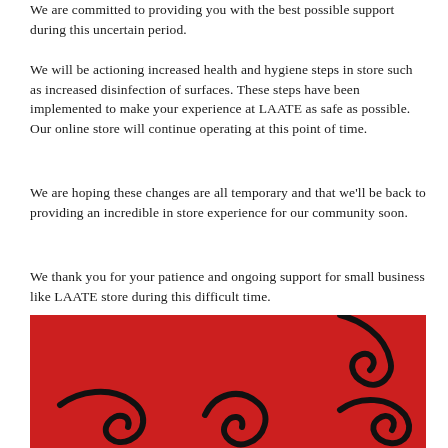We are committed to providing you with the best possible support during this uncertain period.
We will be actioning increased health and hygiene steps in store such as increased disinfection of surfaces. These steps have been implemented to make your experience at LAATE as safe as possible. Our online store will continue operating at this point of time.
We are hoping these changes are all temporary and that we'll be back to providing an incredible in store experience for our community soon.
We thank you for your patience and ongoing support for small business like LAATE store during this difficult time.
[Figure (logo): Red background with black decorative swirl/logo elements (LAATE store branding) and a black MENU navigation bar overlay with hamburger icon]